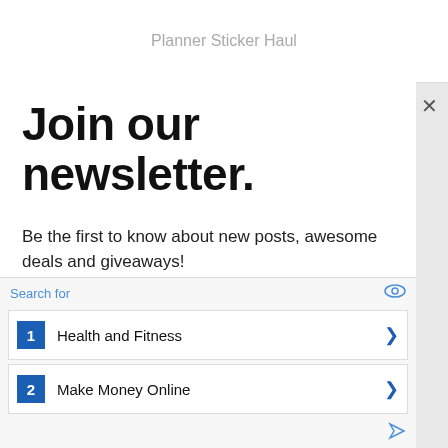Planner Sticker Haul
Join our newsletter.
Be the first to know about new posts, awesome deals and giveaways!
Email address
Subscribe
Search for
1  Health and Fitness
2  Make Money Online